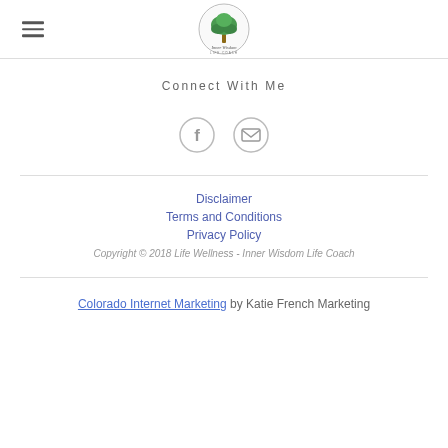[Figure (logo): Inner Wisdom Life Coach logo — circular badge with tree illustration and script text]
Connect With Me
[Figure (other): Social icons: Facebook (f) and Email (envelope)]
Disclaimer
Terms and Conditions
Privacy Policy
Copyright © 2018 Life Wellness - Inner Wisdom Life Coach
Colorado Internet Marketing by Katie French Marketing